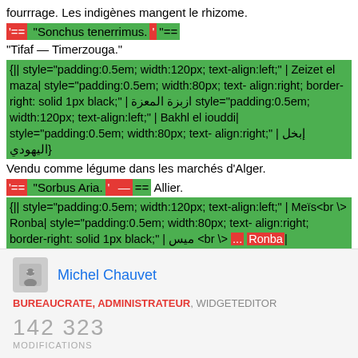fourrrage. Les indigènes mangent le rhizome.
'== "Sonchus tenerrimus.'"==
"Tifaf — Timerzouga."
{|| style="padding:0.5em; width:120px; text-align:left;" | Zeizet el maza| style="padding:0.5em; width:80px; text-align:right; border-right: solid 1px black;" | ازبزة المعزة style="padding:0.5em; width:120px; text-align:left;" | Bakhl el iouddi| style="padding:0.5em; width:80px; text-align:right;" | إبخل اليهودي}
Vendu comme légume dans les marchés d'Alger.
'== "Sorbus Aria.'" — ==Allier.
{|| style="padding:0.5em; width:120px; text-align:left;" | Meïs<br \> Ronba| style="padding:0.5em; width:80px; text-align:right; border-right: solid 1px black;" | ميس <br \> ... Ronba| style="padding:0.5em; width:120px; text-
Michel Chauvet
BUREAUCRATE, ADMINISTRATEUR, WIDGETEDITOR
142 323
MODIFICATIONS